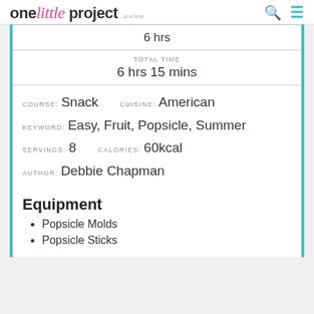one little project ...at a time
| 6 hrs |
| TOTAL TIME | 6 hrs 15 mins |
COURSE: Snack   CUISINE: American   KEYWORD: Easy, Fruit, Popsicle, Summer   SERVINGS: 8   CALORIES: 60kcal   AUTHOR: Debbie Chapman
Equipment
Popsicle Molds
Popsicle Sticks